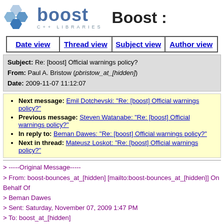[Figure (logo): Boost C++ Libraries logo with hexagon icons and text, followed by 'Boost :' heading]
Date view | Thread view | Subject view | Author view (navigation links)
Subject: Re: [boost] Official warnings policy?
From: Paul A. Bristow (pbristow_at_[hidden])
Date: 2009-11-07 11:12:07
Next message: Emil Dotchevski: "Re: [boost] Official warnings policy?"
Previous message: Steven Watanabe: "Re: [boost] Official warnings policy?"
In reply to: Beman Dawes: "Re: [boost] Official warnings policy?"
Next in thread: Mateusz Loskot: "Re: [boost] Official warnings policy?"
> -----Original Message-----
> From: boost-bounces_at_[hidden] [mailto:boost-bounces_at_[hidden]] On Behalf Of
> Beman Dawes
> Sent: Saturday, November 07, 2009 1:47 PM
> To: boost_at_[hidden]
> Subject: Re: [boost] Official warnings policy?
>
> On Sat, Nov 7, 2009 at 7:13 AM, Daniel James <daniel_james_at_[hidden]> wrote:
> > On 07/11/2009 10:38, Paul A. Bristow wrote: